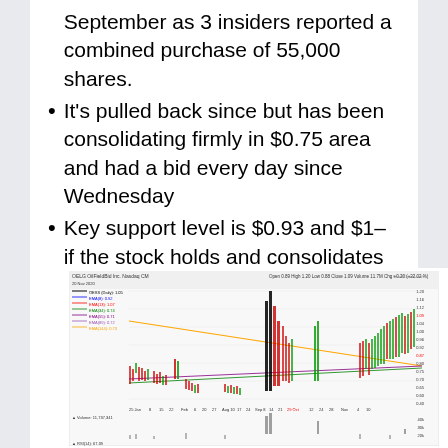September as 3 insiders reported a combined purchase of 55,000 shares.
It's pulled back since but has been consolidating firmly in $0.75 area and had a bid every day since Wednesday
Key support level is $0.93 and $1 – if the stock holds and consolidates higher it looks primed for a move to new highs above $1.3
[Figure (continuous-plot): Stock chart for OELG (OilfieldBid Inc, Nasdaq CM) dated 20 Nov 2020 showing candlestick price action with multiple EMAs, price range roughly $0.40-$1.20, with volume bars below and RSI indicator at bottom. Date range from approximately Jan to Nov 2020.]